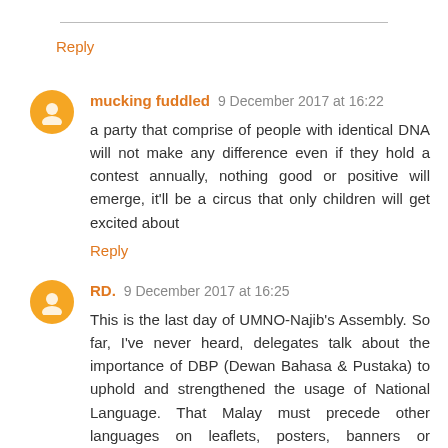Reply
mucking fuddled 9 December 2017 at 16:22
a party that comprise of people with identical DNA will not make any difference even if they hold a contest annually, nothing good or positive will emerge, it'll be a circus that only children will get excited about
Reply
RD. 9 December 2017 at 16:25
This is the last day of UMNO-Najib's Assembly. So far, I've never heard, delegates talk about the importance of DBP (Dewan Bahasa & Pustaka) to uphold and strengthened the usage of National Language. That Malay must precede other languages on leaflets, posters, banners or signboards, etc. That Malay is the language of 1Malaysia's UNITY.